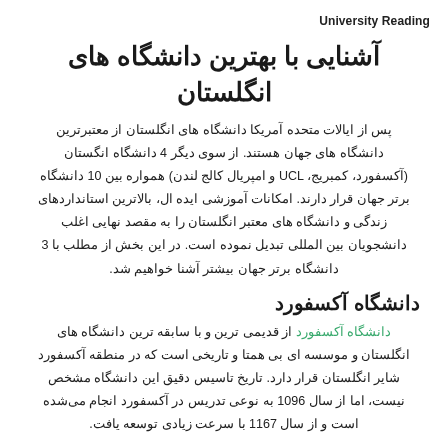University Reading
آشنایی با بهترین دانشگاه های انگلستان
پس از ایالات متحده آمریکا دانشگاه های انگلستان از معتبرترین دانشگاه های جهان هستند. از سوی دیگر 4 دانشگاه انگستان (آکسفورد، کمبریج، UCL و امپریال کالج لندن) همواره بین 10 دانشگاه برتر جهان قرار دارند. امکانات آموزشی ایده ال، بالاترین استانداردهای زندگی و دانشگاه های معتبر انگلستان را به مقصد نهایی اغلب دانشجویان بین المللی تبدیل نموده است. در این بخش از مطلب با 3 دانشگاه برتر جهان بیشتر آشنا خواهیم شد.
دانشگاه آکسفورد
دانشگاه آکسفورد از قدیمی ترین و با سابقه ترین دانشگاه های انگلستان و موسسه ای بی همتا و تاریخی است که در منطقه آکسفورد شایر انگلستان قرار دارد. تاریخ تاسیس دقیق این دانشگاه مشخص نیست، اما از سال 1096 به نوعی تدریس در آکسفورد انجام می‌شده است و از سال 1167 با سرعت زیادی توسعه یافت.